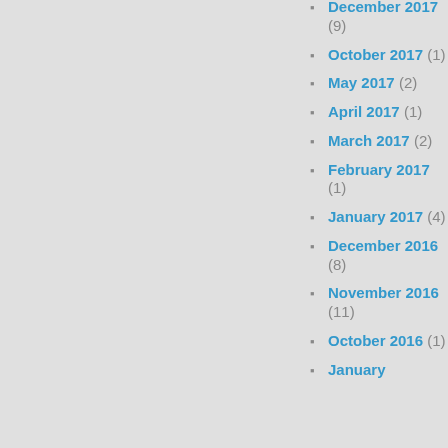December 2017 (9)
October 2017 (1)
May 2017 (2)
April 2017 (1)
March 2017 (2)
February 2017 (1)
January 2017 (4)
December 2016 (8)
November 2016 (11)
October 2016 (1)
January